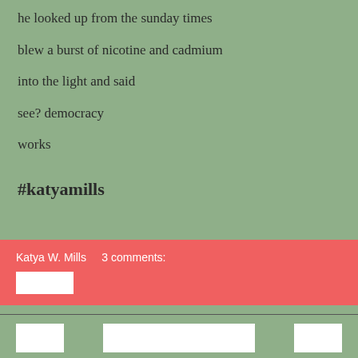he looked up from the sunday times
blew a burst of nicotine and cadmium
into the light and said
see? democracy
works
#katyamills
Katya W. Mills    3 comments: